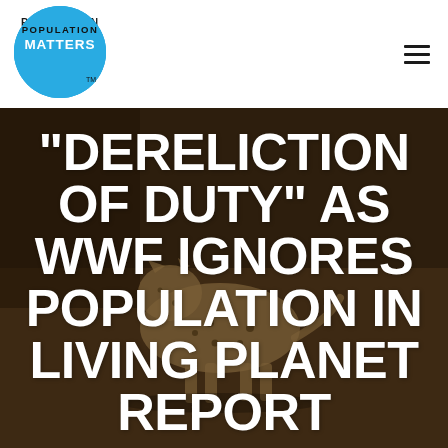[Figure (logo): Population Matters logo: blue circle with 'POPULATION MATTERS' text in black and white, with TM mark]
[Figure (photo): A cheetah walking on a dry sandy ground, photographed from the front-side, dark muted background]
"DERELICTION OF DUTY" AS WWF IGNORES POPULATION IN LIVING PLANET REPORT